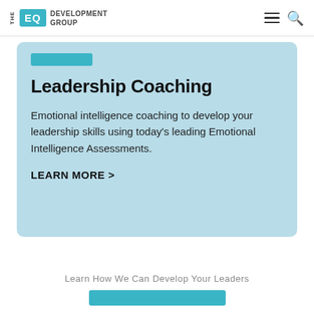THE EQ DEVELOPMENT GROUP
[Figure (screenshot): Partial top of a card with a teal/blue button visible at the top edge]
Leadership Coaching
Emotional intelligence coaching to develop your leadership skills using today's leading Emotional Intelligence Assessments.
LEARN MORE >
Learn How We Can Develop Your Leaders